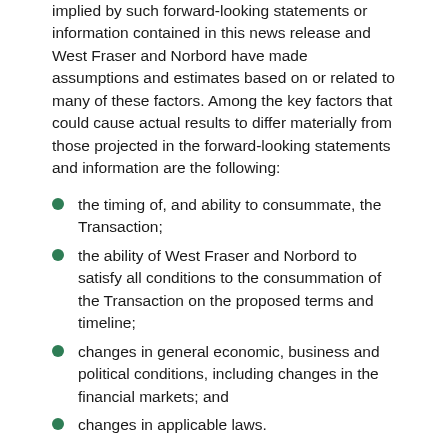implied by such forward-looking statements or information contained in this news release and West Fraser and Norbord have made assumptions and estimates based on or related to many of these factors. Among the key factors that could cause actual results to differ materially from those projected in the forward-looking statements and information are the following:
the timing of, and ability to consummate, the Transaction;
the ability of West Fraser and Norbord to satisfy all conditions to the consummation of the Transaction on the proposed terms and timeline;
changes in general economic, business and political conditions, including changes in the financial markets; and
changes in applicable laws.
Certain of these factors are identified under the captions “Risk Factors Relating to the Arrangement and West Fraser” in the management information circular of West Fraser (the “West Fraser Circular”), dated December 15,